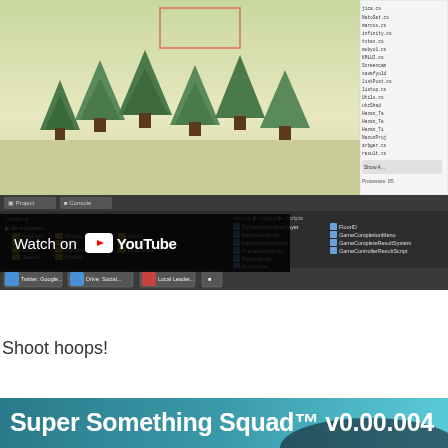[Figure (screenshot): Unity game engine editor screenshot showing a 3D game viewport with stylized low-poly trees on a light green/tan landscape, alongside the Project panel with folder tree (Assets, AppData, Colorful, Editor, Games, Global, Icons, Mastercast, Models, About, Prefabs, Resources) and a Scripts panel showing script files (DynamicCameraPlayer, ExpanderScript, FaceCameraScript, FrameworkScript, PlayerScript, FloatScript, FloorID, GameCompletionMenu, GameCompleteResultSystem, GameControllerResultScript, and more). A code/console panel is visible on the right side. The bottom shows Unity taskbar with buttons.]
[Figure (screenshot): YouTube 'Watch on YouTube' overlay button displayed over the Unity editor screenshot]
Shoot hoops!
Super Something Squad™ v0.00.004